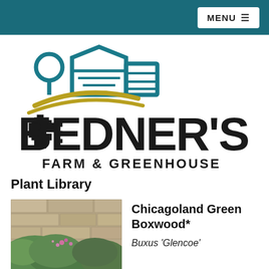MENU
[Figure (logo): Bedner's Farm & Greenhouse logo: teal barn/greenhouse icon with gold arc, large decorative script and serif text reading BEDNER'S FARM & GREENHOUSE]
Plant Library
[Figure (photo): Photo of Chicagoland Green Boxwood shrub with dense green foliage against a stone wall, with pink flowers visible]
Chicagoland Green Boxwood*
Buxus 'Glencoe'